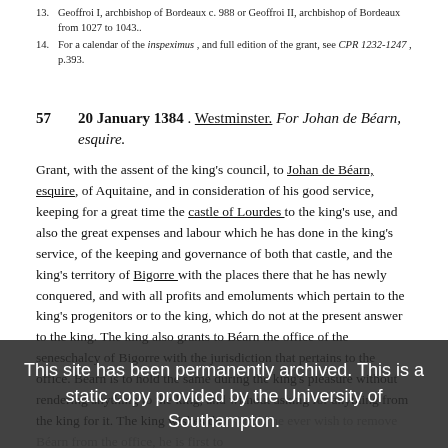13. Geoffroi I, archbishop of Bordeaux c. 988 or Geoffroi II, archbishop of Bordeaux from 1027 to 1043.
14. For a calendar of the inspeximus , and full edition of the grant, see CPR 1232-1247 , p.393.
57   20 January 1384 . Westminster. For Johan de Béarn, esquire.
Grant, with the assent of the king's council, to Johan de Béarn, esquire, of Aquitaine, and in consideration of his good service, keeping for a great time the castle of Lourdes to the king's use, and also the great expenses and labour which he has done in the king's service, of the keeping and governance of both that castle, and the king's territory of Bigorre with the places there that he has newly conquered, and with all profits and emoluments which pertain to the king's progenitors or to the king, which do not at the present answer to the king. The king also grants to Béarn the office of the seneschalcy of Bigorre with the jurisdiction that pertains to the office. Béarn is to hold the same during the king's pleasure without rendering anything to the king, and without asking for anything from the king for it. The king wishes that should he ever wish to remove Béarn from the office, he is first to be given reasonable notice so that he can profit from the things which he has made there.
This site has been permanently archived. This is a static copy provided by the University of Southampton.